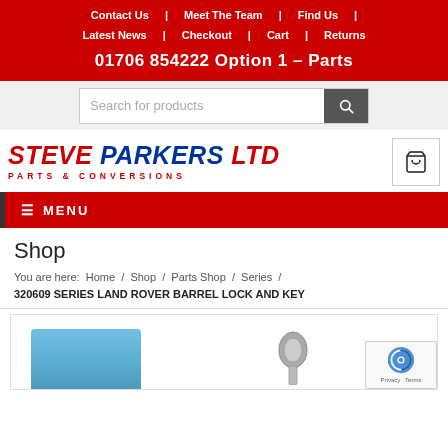Contact Us | Meet The Team | Find Us | Latest News | Checkout | Cart | Returns
01706 854222 Option 1 – Parts
[Figure (screenshot): Search bar with text 'Search for products' and search button]
[Figure (logo): Steve Parkers LTD Parts & Conversions logo with shopping cart icon]
≡ MENU
Shop
You are here: Home / Shop / Parts Shop / Series / 320609 SERIES LAND ROVER BARREL LOCK AND KEY
[Figure (photo): Product photo area showing barrel lock and key parts for Land Rover Series, partially visible with reCAPTCHA overlay in corner]